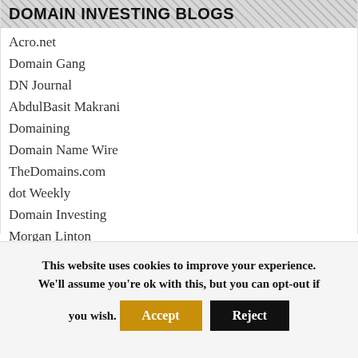DOMAIN INVESTING BLOGS
Acro.net
Domain Gang
DN Journal
AbdulBasit Makrani
Domaining
Domain Name Wire
TheDomains.com
dot Weekly
Domain Investing
Morgan Linton
TLD Investors
This website uses cookies to improve your experience. We'll assume you're ok with this, but you can opt-out if you wish.